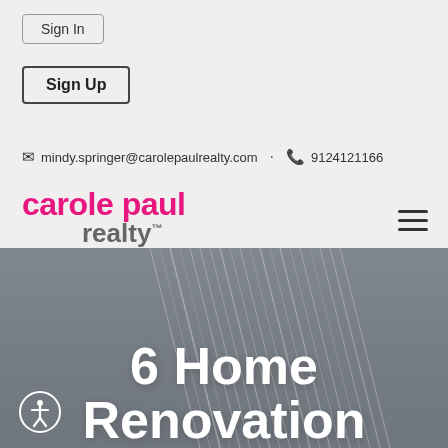Sign In
Sign Up
mindy.springer@carolepaulrealty.com  •  9124121166
[Figure (logo): Carole Paul Realty logo with 'carole paul' in pink and 'realty' in grey with TM mark]
[Figure (photo): Grey-toned photo of a paint brush bristles close-up, used as hero banner background]
6 Home Renovation